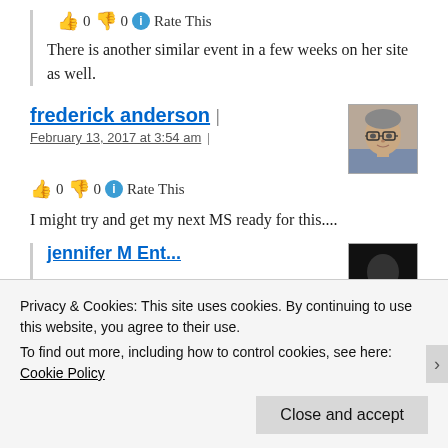👍 0 👎 0 ℹ Rate This
There is another similar event in a few weeks on her site as well.
frederick anderson | February 13, 2017 at 3:54 am |
[Figure (photo): Small avatar photo of a man with glasses]
👍 0 👎 0 ℹ Rate This
I might try and get my next MS ready for this....
Privacy & Cookies: This site uses cookies. By continuing to use this website, you agree to their use. To find out more, including how to control cookies, see here: Cookie Policy
Close and accept